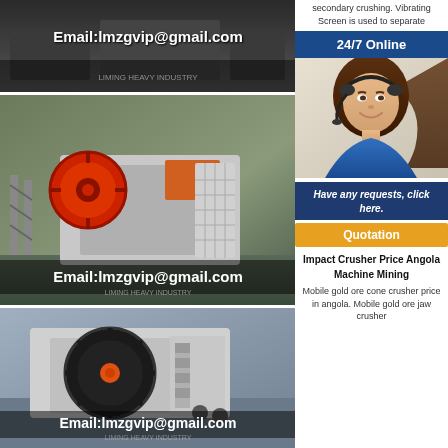[Figure (photo): Industrial crushing machine / mining equipment with email watermark overlay at top]
[Figure (photo): Large jaw crusher machine in industrial facility with red flywheel, email:lmzgvip@gmail.com watermark]
[Figure (photo): Mining jaw crusher machine with black flywheel and orange center, email:lmzgvip@gmail.com watermark at bottom]
secondary crushing. Vibrating Screen is used to separate
24/7 Online
[Figure (photo): Customer service woman with headset, smiling, wearing blue top — support widget photo]
Have any requests, click here.
Quotation
Impact Crusher Price Angola Machine Mining
Mobile gold ore cone crusher price in angola. Mobile gold ore jaw crusher